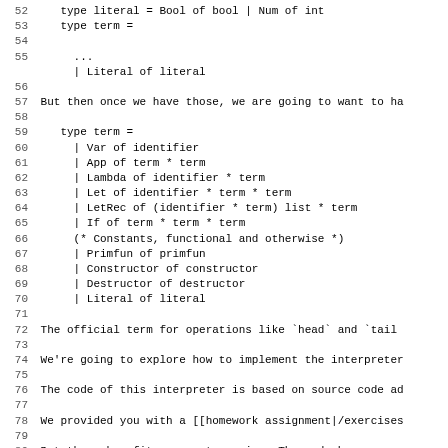Lines 52-83: OCaml code snippet and prose about interpreter implementation